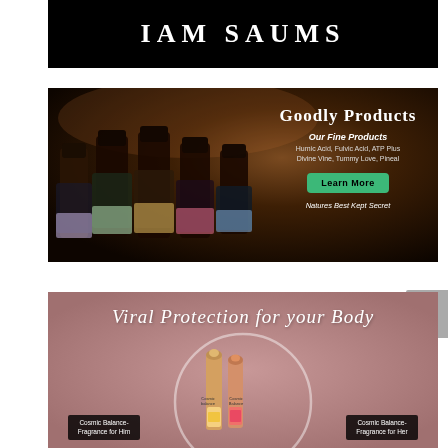[Figure (illustration): Black banner with white text reading 'IAM SAUMS' in large uppercase serif letters]
[Figure (illustration): Dark atmospheric product banner showing Humic Life supplement bottles on the left and text on the right: 'Goodly Products', 'Our Fine Products', 'Humic Acid, Fulvic Acid, ATP Plus, Divine Vine, Tummy Love, Pineal', a green 'Learn More' button, and 'Natures Best Kept Secret']
[Figure (illustration): Pink/rose-colored banner with script text 'Viral Protection for your Body', two roll-on perfume bottles in center, and black label boxes reading 'Cosmic Balance- Fragrance for Him' and 'Cosmic Balance- Fragrance for Her']